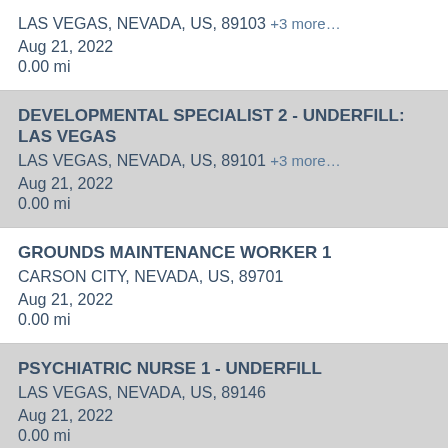LAS VEGAS, NEVADA, US, 89103 +3 more…
Aug 21, 2022
0.00 mi
DEVELOPMENTAL SPECIALIST 2 - UNDERFILL: LAS VEGAS
LAS VEGAS, NEVADA, US, 89101 +3 more…
Aug 21, 2022
0.00 mi
GROUNDS MAINTENANCE WORKER 1
CARSON CITY, NEVADA, US, 89701
Aug 21, 2022
0.00 mi
PSYCHIATRIC NURSE 1 - UNDERFILL
LAS VEGAS, NEVADA, US, 89146
Aug 21, 2022
0.00 mi